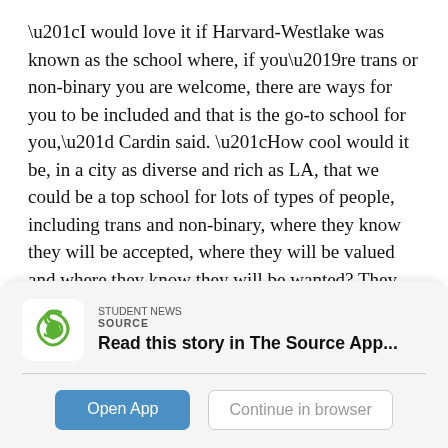“I would love it if Harvard-Westlake was known as the school where, if you’re trans or non-binary you are welcome, there are ways for you to be included and that is the go-to school for you,” Cardin said. “How cool would it be, in a city as diverse and rich as LA, that we could be a top school for lots of types of people, including trans and non-binary, where they know they will be accepted, where they will be valued and where they know they will be wanted? They know that they and their families will be included in our community.”
Caroline Cook
Janine Jones
prefect council
Read this story in The Source App...
Open App
Continue in browser